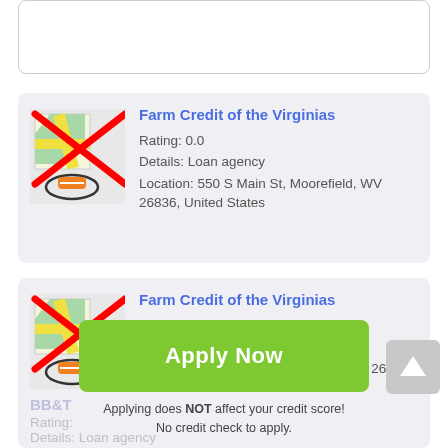[Figure (screenshot): Partial white card at top of screen]
Farm Credit of the Virginias
Rating: 0.0
Details: Loan agency
Location: 550 S Main St, Moorefield, WV 26836, United States
Farm Credit of the Virginias
Rating: 0.0
Details: Loan agency
Location: 452 N High St, Romney, WV 26757, United States
Apply Now
Applying does NOT affect your credit score!
No credit check to apply.
BB&T
Rating:
Details: Loan agency